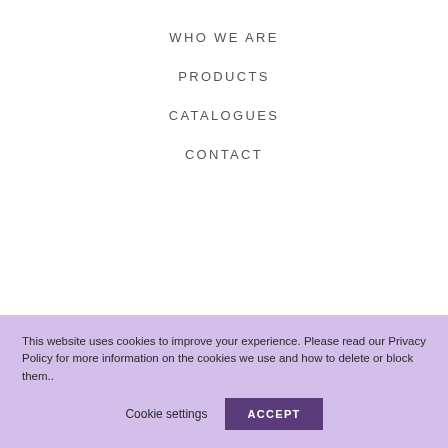WHO WE ARE
PRODUCTS
CATALOGUES
CONTACT
This website uses cookies to improve your experience. Please read our Privacy Policy for more information on the cookies we use and how to delete or block them..
Cookie settings
ACCEPT